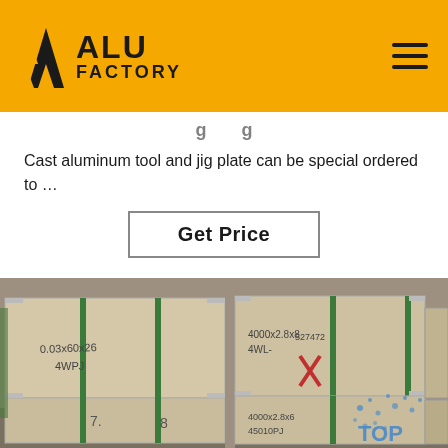ALU FACTORY
Cast aluminum tool and jig plate can be special ordered to …
Get Price
[Figure (photo): Warehouse photo showing wooden crates/pallets with handwritten labels, strapped with green bands, stacked in a warehouse. A 'TOP' watermark with dots is visible in the bottom right corner.]